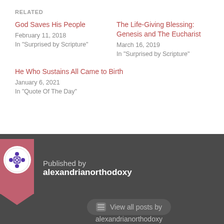RELATED
God Saves His People
February 11, 2018
In "Surprised by Scripture"
The Life-Giving Blessing: Genesis and The Eucharist
March 16, 2019
In "Surprised by Scripture"
He Who Sustains All Came to Birth
January 6, 2021
In "Quote Of The Day"
Published by alexandrianorthodoxy
View all posts by alexandrianorthodoxy